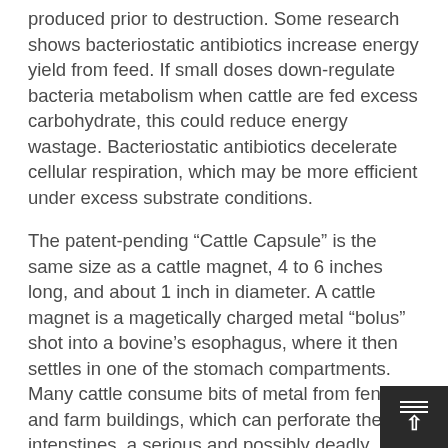produced prior to destruction. Some research shows bacteriostatic antibiotics increase energy yield from feed. If small doses down-regulate bacteria metabolism when cattle are fed excess carbohydrate, this could reduce energy wastage. Bacteriostatic antibiotics decelerate cellular respiration, which may be more efficient under excess substrate conditions.
The patent-pending “Cattle Capsule” is the same size as a cattle magnet, 4 to 6 inches long, and about 1 inch in diameter. A cattle magnet is a magetically charged metal “bolus” shot into a bovine’s esophagus, where it then settles in one of the stomach compartments. Many cattle consume bits of metal from fences and farm buildings, which can perforate their intenstines, a serious and possibly deadly problem. These metal pieces adhere to cattle magnets instead, a simple, life-saving technology.
The Cattle Capsule contains long-life LEDs that emit ‘Soret band’ light through portals in the device surface. This triggers a death spiral in bacteria in the device’s vicinity, which is a fraction of the bovine’s total b